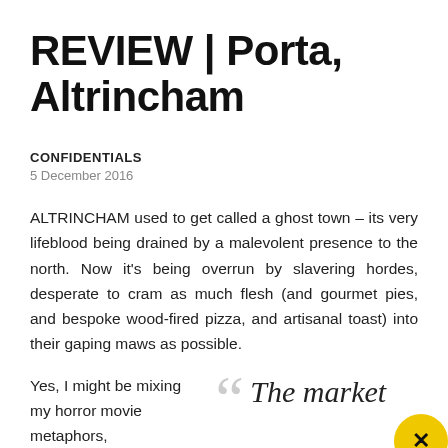REVIEW | Porta, Altrincham
CONFIDENTIALS
5 December 2016
ALTRINCHAM used to get called a ghost town – its very lifeblood being drained by a malevolent presence to the north. Now it's being overrun by slavering hordes, desperate to cram as much flesh (and gourmet pies, and bespoke wood-fired pizza, and artisanal toast) into their gaping maws as possible.
Yes, I might be mixing my horror movie metaphors,
The market